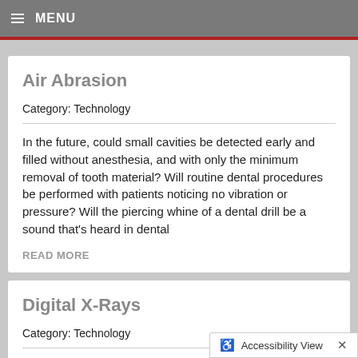≡ MENU
Air Abrasion
Category: Technology
In the future, could small cavities be detected early and filled without anesthesia, and with only the minimum removal of tooth material? Will routine dental procedures be performed with patients noticing no vibration or pressure? Will the piercing whine of a dental drill be a sound that's heard in dental
READ MORE
Digital X-Rays
Category: Technology